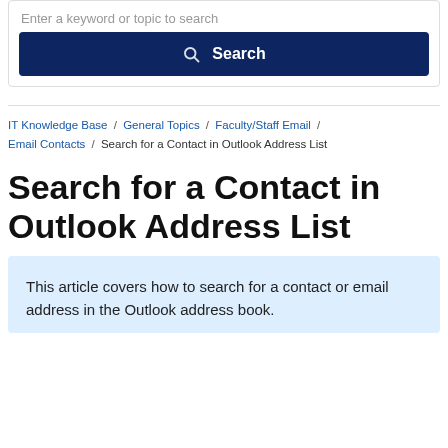[Figure (screenshot): Search bar UI with placeholder text 'Enter a keyword or topic to search' and a dark navy Search button with magnifying glass icon]
IT Knowledge Base / General Topics / Faculty/Staff Email / Email Contacts / Search for a Contact in Outlook Address List
Search for a Contact in Outlook Address List
This article covers how to search for a contact or email address in the Outlook address book.